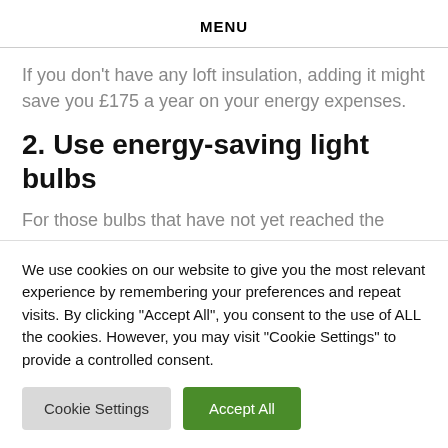MENU
If you don’t have any loft insulation, adding it might save you £175 a year on your energy expenses.
2. Use energy-saving light bulbs
For those bulbs that have not yet reached the end of their life span, replacing just one outdated
We use cookies on our website to give you the most relevant experience by remembering your preferences and repeat visits. By clicking “Accept All”, you consent to the use of ALL the cookies. However, you may visit “Cookie Settings” to provide a controlled consent.